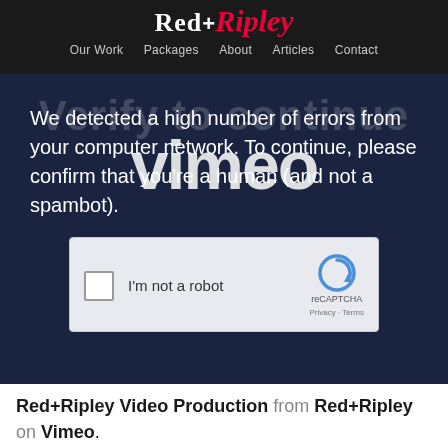[Figure (screenshot): Red+Ripley website header with logo and navigation bar showing: Our Work, Packages, About, Articles, Contact]
[Figure (screenshot): Vimeo CAPTCHA verification page overlaid on dark navy background. Shows 'Verify to continue' watermark text, Vimeo logo watermark, message 'We detected a high number of errors from your computer network. To continue, please confirm that youare a human (and not a spambot).' with a reCAPTCHA checkbox widget.]
Red+Ripley Video Production from Red+Ripley on Vimeo.